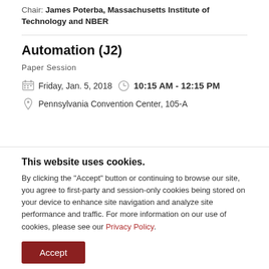Chair: James Poterba, Massachusetts Institute of Technology and NBER
Automation (J2)
Paper Session
Friday, Jan. 5, 2018  10:15 AM - 12:15 PM
Pennsylvania Convention Center, 105-A
This website uses cookies. By clicking the "Accept" button or continuing to browse our site, you agree to first-party and session-only cookies being stored on your device to enhance site navigation and analyze site performance and traffic. For more information on our use of cookies, please see our Privacy Policy.